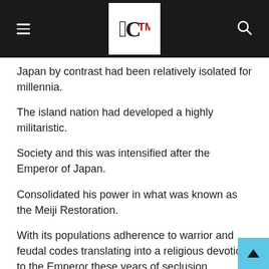CTM logo with hamburger menu and search icon
Japan by contrast had been relatively isolated for millennia.
The island nation had developed a highly militaristic.
Society and this was intensified after the Emperor of Japan.
Consolidated his power in what was known as the Meiji Restoration.
With its populations adherence to warrior and feudal codes translating into a religious devotion to the Emperor these years of seclusion.
Contributed to the development of a xenophobic mentality the Japanese viewed their culture as the most sophisticated and